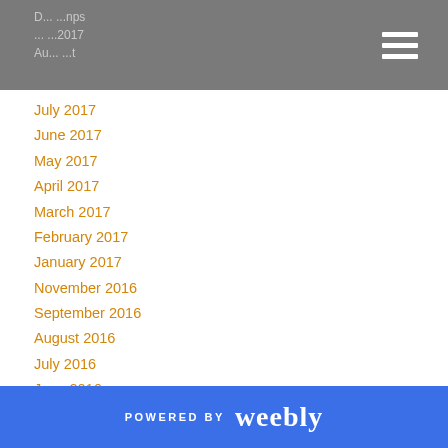July 2017
June 2017
May 2017
April 2017
March 2017
February 2017
January 2017
November 2016
September 2016
August 2016
July 2016
June 2016
May 2016
April 2016
March 2016
February 2016
POWERED BY weebly